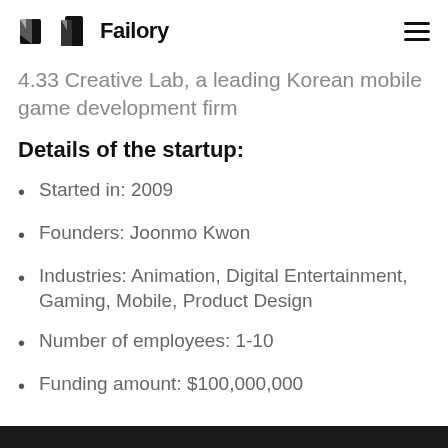Failory
4.33 Creative Lab, a leading Korean mobile game development firm
Details of the startup:
Started in: 2009
Founders: Joonmo Kwon
Industries: Animation, Digital Entertainment, Gaming, Mobile, Product Design
Number of employees: 1-10
Funding amount: $100,000,000